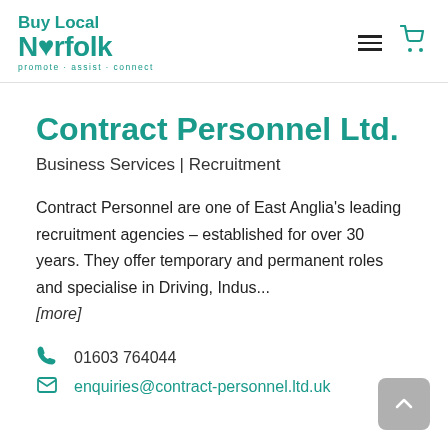[Figure (logo): Buy Local Norfolk logo with tagline 'promote · assist · connect' in teal]
Contract Personnel Ltd.
Business Services | Recruitment
Contract Personnel are one of East Anglia's leading recruitment agencies – established for over 30 years. They offer temporary and permanent roles and specialise in Driving, Indus...
[more]
01603 764044
enquiries@contract-personnel.ltd.uk